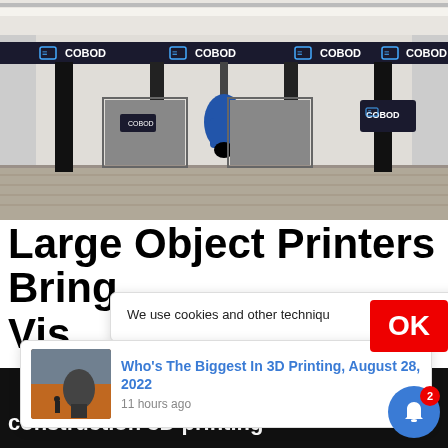[Figure (photo): Large industrial 3D printing gantry system by COBOD inside a warehouse facility. Multiple 'COBOD' branded labels on a ceiling-mounted gantry rail. A print head hangs down centrally. Two grey doors and COBOD logos visible on the back wall.]
Large Object Printers Bring Vis[ibility to 3D Printing]
We use cookies and other technique
Who's The Biggest In 3D Printing, August 28, 2022
11 hours ago
of large-[scale] construction 3D printing